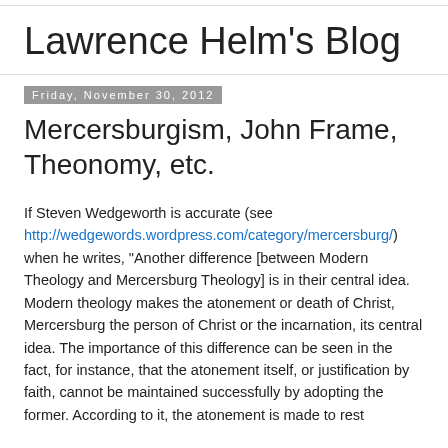Lawrence Helm's Blog
Friday, November 30, 2012
Mercersburgism, John Frame, Theonomy, etc.
If Steven Wedgeworth is accurate (see http://wedgewords.wordpress.com/category/mercersburg/) when he writes, “Another difference [between Modern Theology and Mercersburg Theology] is in their central idea. Modern theology makes the atonement or death of Christ, Mercersburg the person of Christ or the incarnation, its central idea. The importance of this difference can be seen in the fact, for instance, that the atonement itself, or justification by faith, cannot be maintained successfully by adopting the former. According to it, the atonement is made to rest